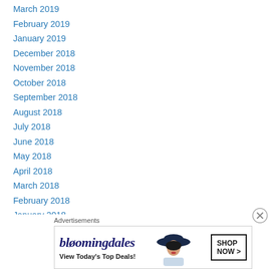March 2019
February 2019
January 2019
December 2018
November 2018
October 2018
September 2018
August 2018
July 2018
June 2018
May 2018
April 2018
March 2018
February 2018
January 2018
December 2017
Advertisements
[Figure (other): Bloomingdale's advertisement banner with logo, 'View Today's Top Deals!' tagline, woman in hat photo, and 'SHOP NOW >' button]